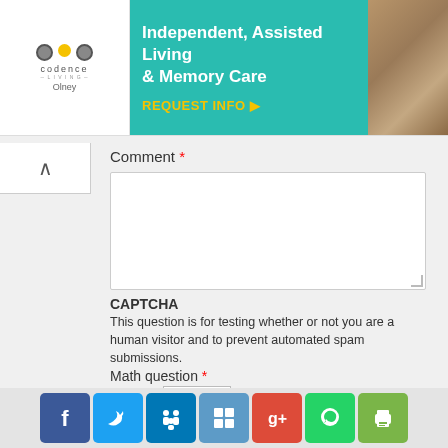[Figure (screenshot): Codence Living advertisement banner for Independent, Assisted Living & Memory Care in Olney with REQUEST INFO button]
Comment *
CAPTCHA
This question is for testing whether or not you are a human visitor and to prevent automated spam submissions.
Math question *
2 + 1 =
Solve this simple math problem and enter the result. E.g. for 1+3, enter 4.
Save
[Figure (infographic): Social media share buttons: Facebook, Twitter, LinkedIn, Delicious, Google+, WhatsApp, Print]